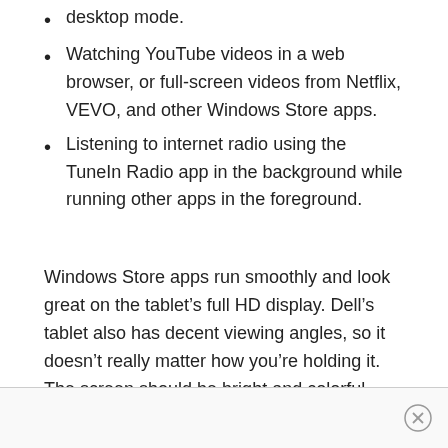desktop mode.
Watching YouTube videos in a web browser, or full-screen videos from Netflix, VEVO, and other Windows Store apps.
Listening to internet radio using the TuneIn Radio app in the background while running other apps in the foreground.
Windows Store apps run smoothly and look great on the tablet’s full HD display. Dell’s tablet also has decent viewing angles, so it doesn’t really matter how you’re holding it. The screen should be bright and colorful from most angles.